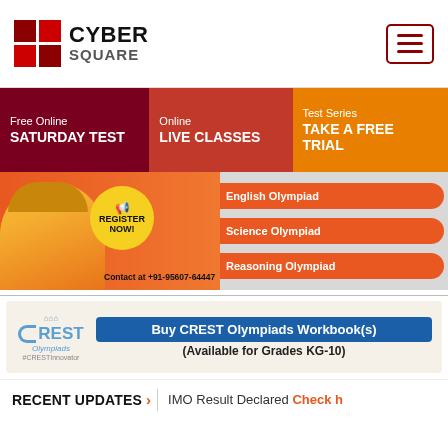CYBER SQUARE
Free Online SATURDAY TEST | Online LIVE CLASSES | Test Series TAKE A FREE TRIAL
[Figure (photo): Banner image with girl in yellow shirt pointing to REGISTER NOW button, with contact info +91-95607-64447 and Olympiad buttons for English, Science, and Reasoning]
[Figure (infographic): CREST Olympiads banner: Buy CREST Olympiads Workbook(s) (Available for Grades KG-10)]
RECENT UPDATES > IMO Result Declared Check h